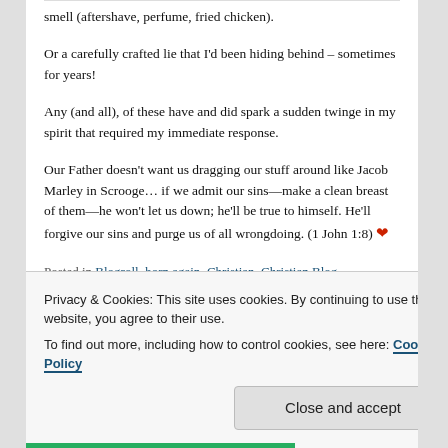Or a carefully crafted lie that I'd been hiding behind – sometimes for years!
Any (and all), of these have and did spark a sudden twinge in my spirit that required my immediate response.
Our Father doesn't want us dragging our stuff around like Jacob Marley in Scrooge… if we admit our sins—make a clean breast of them—he won't let us down; he'll be true to himself. He'll forgive our sins and purge us of all wrongdoing. (1 John 1:8) ❤
Posted in Blogroll, born again, Christian, Christian Blog,
Privacy & Cookies: This site uses cookies. By continuing to use this website, you agree to their use. To find out more, including how to control cookies, see here: Cookie Policy